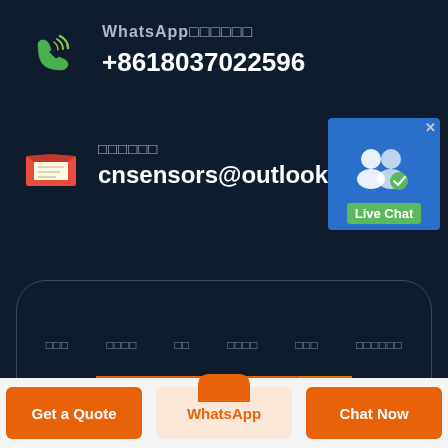WhatsApp□□□□□□ +8618037022596
□□□□□□ cnsensors@outlook.com
[Figure (screenshot): Live Chat widget button with two person icons and green Live Chat label]
□□□ □□□□ □□ □□□□ □□□ □□□□□□
□□□□□□□ →
Get a Quote
WhatsApp
Chat Now